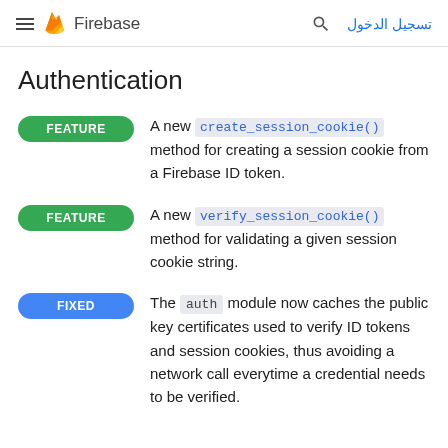Firebase — تسجيل الدخول
Authentication
A new create_session_cookie() method for creating a session cookie from a Firebase ID token.
A new verify_session_cookie() method for validating a given session cookie string.
The auth module now caches the public key certificates used to verify ID tokens and session cookies, thus avoiding a network call everytime a credential needs to be verified.